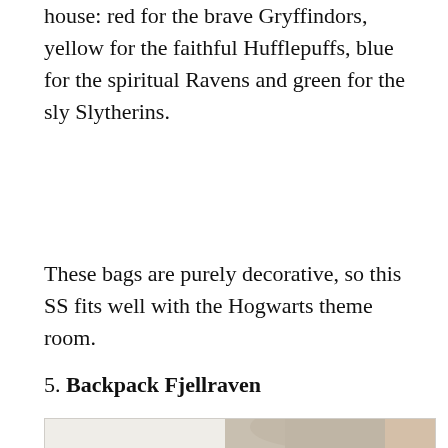house: red for the brave Gryffindors, yellow for the faithful Hufflepuffs, blue for the spiritual Ravens and green for the sly Slytherins.
These bags are purely decorative, so this SS fits well with the Hogwarts theme room.
5. Backpack Fjellraven
[Figure (photo): Photo of a person with straight blonde/light hair from behind, wearing what appears to be a yellow item, against a light grey background.]